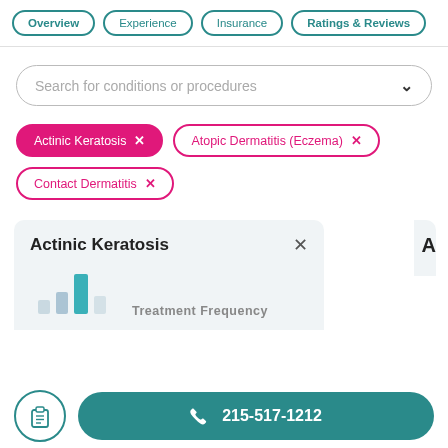Overview | Experience | Insurance | Ratings & Reviews
Search for conditions or procedures
Actinic Keratosis X
Atopic Dermatitis (Eczema) X
Contact Dermatitis X
Actinic Keratosis
[Figure (bar-chart): Mini bar chart showing treatment frequency with bars of varying heights, two muted bars and one teal accent bar]
Treatment Frequency
215-517-1212